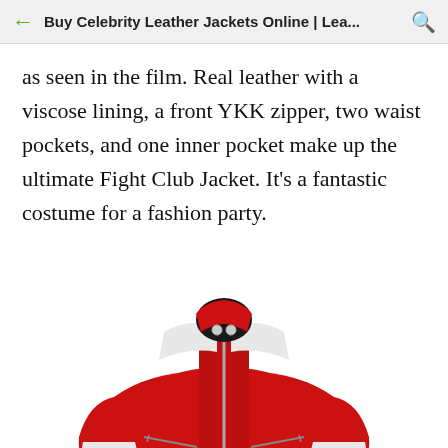Buy Celebrity Leather Jackets Online | Lea...
as seen in the film. Real leather with a viscose lining, a front YKK zipper, two waist pockets, and one inner pocket make up the ultimate Fight Club Jacket. It's a fantastic costume for a fashion party.
[Figure (photo): A red leather jacket with white shoulder panels and white stripe details on the sleeves, featuring a front zipper and waist pockets — the Fight Club Jacket.]